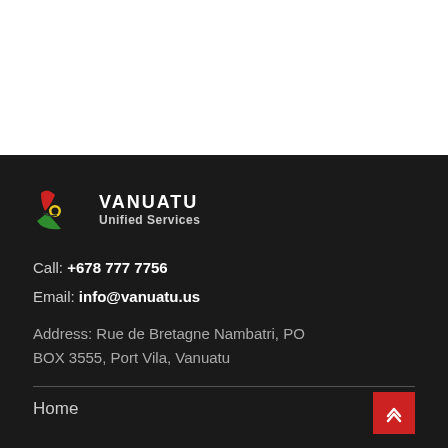[Figure (logo): Vanuatu Unified Services logo with stylized bird/leaf mark in red, green and yellow]
Call: +678 777 7756
Email: info@vanuatu.us
Address: Rue de Bretagne Nambatri, PO BOX 3555, Port Vila, Vanuatu
Home